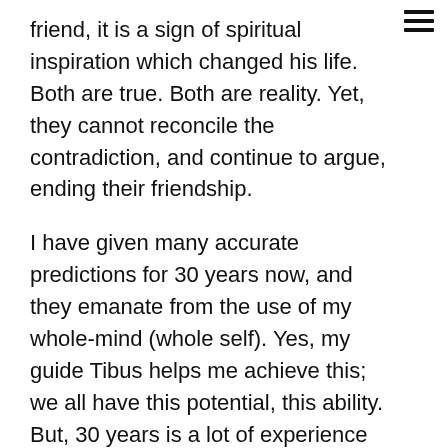friend, it is a sign of spiritual inspiration which changed his life. Both are true. Both are reality. Yet, they cannot reconcile the contradiction, and continue to argue, ending their friendship.
I have given many accurate predictions for 30 years now, and they emanate from the use of my whole-mind (whole self). Yes, my guide Tibus helps me achieve this; we all have this potential, this ability. But, 30 years is a lot of experience at one job and I have a very active guide!
So, unless you are one of the rapidly dwindling number who believes there is no radical climate change occurring on Earth, you will perceive (for example), that the waters will rise as ice melts globally and that fresh drinkable water will become very scarce. All the melting fresh water runs into oceans, you see.